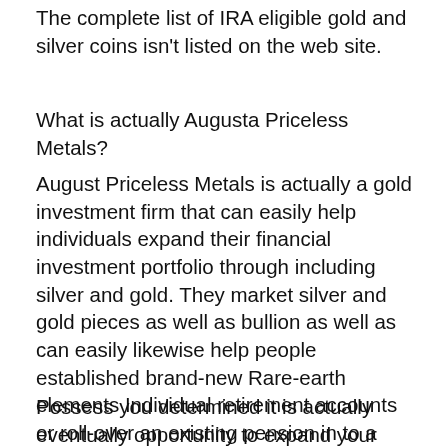The complete list of IRA eligible gold and silver coins isn't listed on the web site.
What is actually Augusta Priceless Metals?
August Priceless Metals is actually a gold investment firm that can easily help individuals expand their financial investment portfolio through including silver and gold. They market silver and gold pieces as well as bullion as well as can easily likewise help people established brand-new Rare-earth elements Individual retirement accounts or roll-over an existing pension in to a Gold or Silver Individual Retirement Account.
Possess you determined it is actually eventually opportunity to expand your